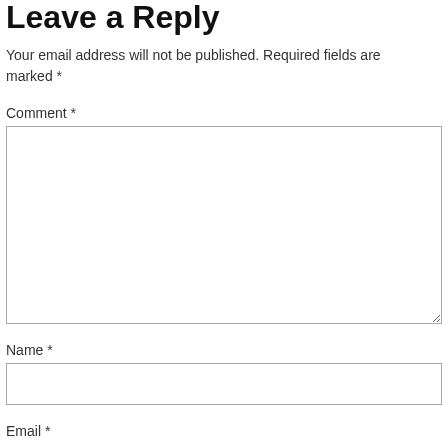Leave a Reply
Your email address will not be published. Required fields are marked *
Comment *
[Figure (other): Large multi-line text input box for comment]
Name *
[Figure (other): Single-line text input box for name]
Email *